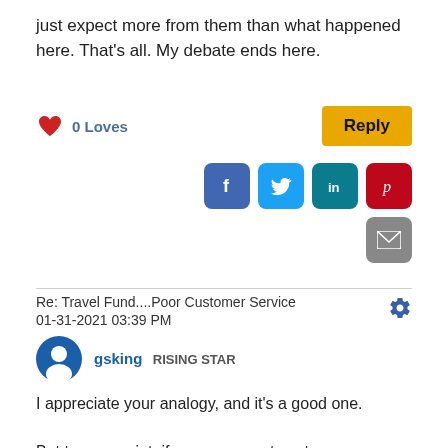just expect more from them than what happened here. That's all. My debate ends here.
0 Loves
Reply
[Figure (infographic): Social share icons: Facebook (blue), Twitter (light blue), LinkedIn (teal), Pinterest (red), Email (gray)]
Re: Travel Fund....Poor Customer Service
01-31-2021 03:39 PM
[Figure (infographic): Gear/settings icon]
[Figure (infographic): User avatar circle icon with person silhouette in blue]
gsking   RISING STAR
I appreciate your analogy,  and it's a good one.

But to your point,  if your new pants got a new expiration... and then you returned them in 30 days for a new paid... and so on and so on.   You'd always have new pants.